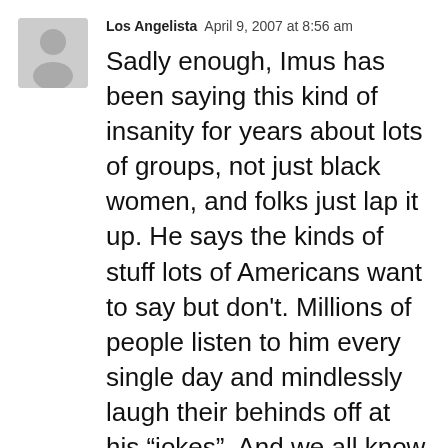Los Angelista  April 9, 2007 at 8:56 am
Sadly enough, Imus has been saying this kind of insanity for years about lots of groups, not just black women, and folks just lap it up. He says the kinds of stuff lots of Americans want to say but don't. Millions of people listen to him every single day and mindlessly laugh their behinds off at his “jokes”. And we all know that there are plenty of folks that agree that all black women are hos…oh wait, Imus